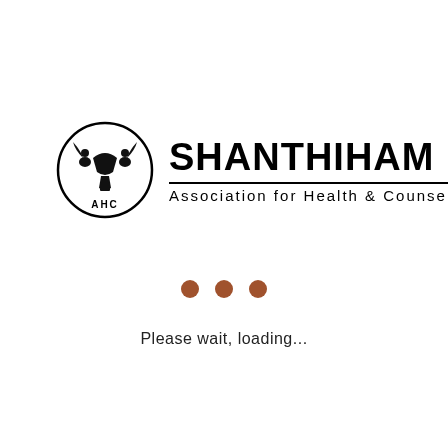[Figure (logo): SHANTHIHAM Association for Health & Counselling logo: a circular emblem with a stylized figure and 'AHC' text inside, next to bold text 'SHANTHIHAM' with a horizontal rule and 'Association for Health & Counselling' below]
[Figure (infographic): Three brown/terracotta colored dots indicating a loading animation]
Please wait, loading...